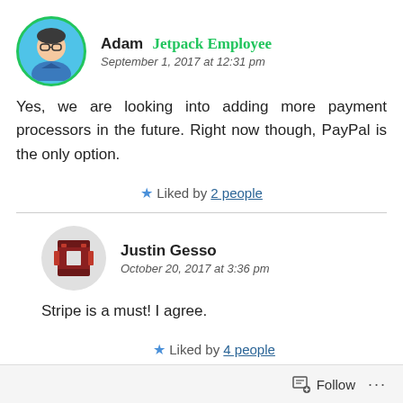Adam  Jetpack Employee
September 1, 2017 at 12:31 pm
Yes, we are looking into adding more payment processors in the future. Right now though, PayPal is the only option.
★ Liked by 2 people
Justin Gesso
October 20, 2017 at 3:36 pm
Stripe is a must! I agree.
★ Liked by 4 people
Follow